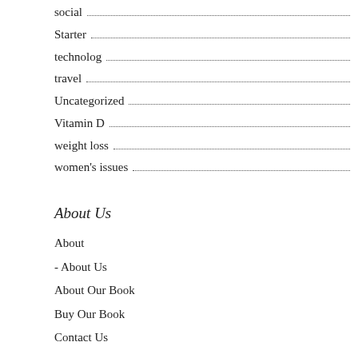social
Starter
technolog
travel
Uncategorized
Vitamin D
weight loss
women's issues
About Us
About
- About Us
About Our Book
Buy Our Book
Contact Us